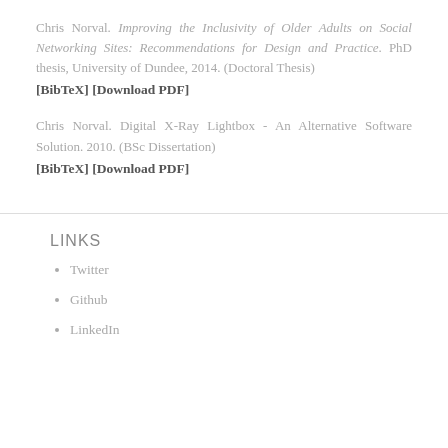Chris Norval. Improving the Inclusivity of Older Adults on Social Networking Sites: Recommendations for Design and Practice. PhD thesis, University of Dundee, 2014. (Doctoral Thesis)
[BibTeX] [Download PDF]
Chris Norval. Digital X-Ray Lightbox - An Alternative Software Solution. 2010. (BSc Dissertation)
[BibTeX] [Download PDF]
LINKS
Twitter
Github
LinkedIn